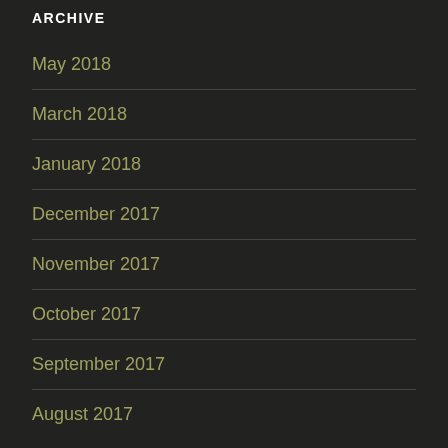ARCHIVE
May 2018
March 2018
January 2018
December 2017
November 2017
October 2017
September 2017
August 2017